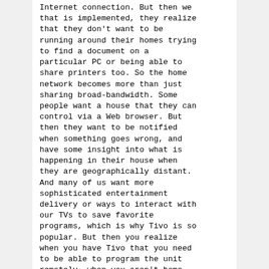Internet connection. But then we that is implemented, they realize that they don't want to be running around their homes trying to find a document on a particular PC or being able to share printers too. So the home network becomes more than just sharing broad-bandwidth. Some people want a house that they can control via a Web browser. But then they want to be notified when something goes wrong, and have some insight into what is happening in their house when they are geographically distant. And many of us want more sophisticated entertainment delivery or ways to interact with our TVs to save favorite programs, which is why Tivo is so popular. But then you realize when you have Tivo that you need to be able to program the unit remotely, when you aren't home, for example.